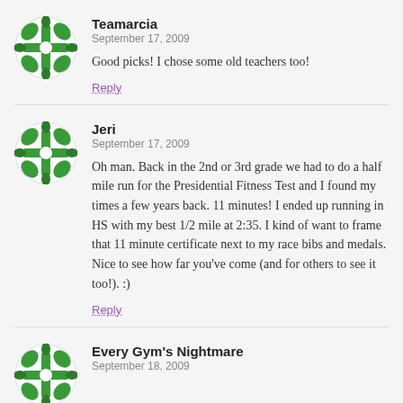[Figure (logo): Green decorative avatar icon with cross/floral pattern]
Teamarcia
September 17, 2009
Good picks! I chose some old teachers too!
Reply
[Figure (logo): Green decorative avatar icon with cross/floral pattern]
Jeri
September 17, 2009
Oh man. Back in the 2nd or 3rd grade we had to do a half mile run for the Presidential Fitness Test and I found my times a few years back. 11 minutes! I ended up running in HS with my best 1/2 mile at 2:35. I kind of want to frame that 11 minute certificate next to my race bibs and medals. Nice to see how far you've come (and for others to see it too!). :)
Reply
[Figure (logo): Green decorative avatar icon with cross/floral pattern]
Every Gym's Nightmare
September 18, 2009